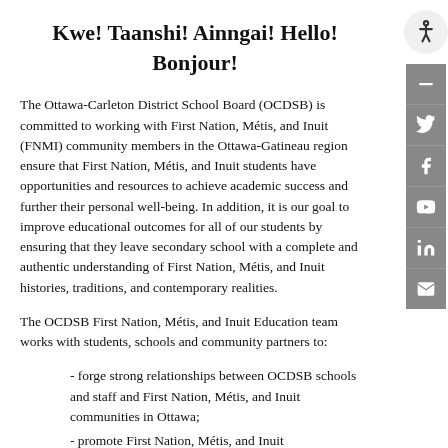Kwe! Taanshi! Ainngai! Hello! Bonjour!
The Ottawa-Carleton District School Board (OCDSB) is committed to working with First Nation, Métis, and Inuit (FNMI) community members in the Ottawa-Gatineau region ensure that First Nation, Métis, and Inuit students have opportunities and resources to achieve academic success and further their personal well-being. In addition, it is our goal to improve educational outcomes for all of our students by ensuring that they leave secondary school with a complete and authentic understanding of First Nation, Métis, and Inuit histories, traditions, and contemporary realities.
The OCDSB First Nation, Métis, and Inuit Education team works with students, schools and community partners to:
- forge strong relationships between OCDSB schools and staff and First Nation, Métis, and Inuit communities in Ottawa;
- promote First Nation, Métis, and Inuit